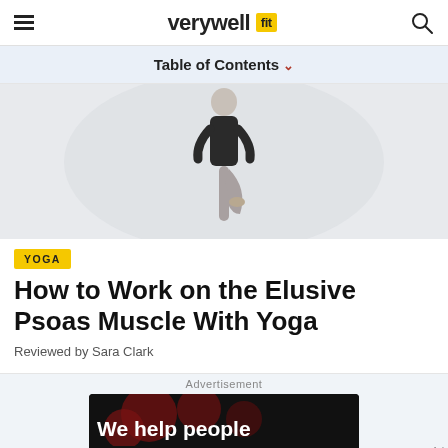verywell fit
Table of Contents
[Figure (photo): Person in yoga tree pose wearing black top and grey leggings on light background]
YOGA
How to Work on the Elusive Psoas Muscle With Yoga
Reviewed by Sara Clark
Advertisement
[Figure (screenshot): Dotdash Meredith advertisement with text 'We help people find answers, solve problems and get inspired.']